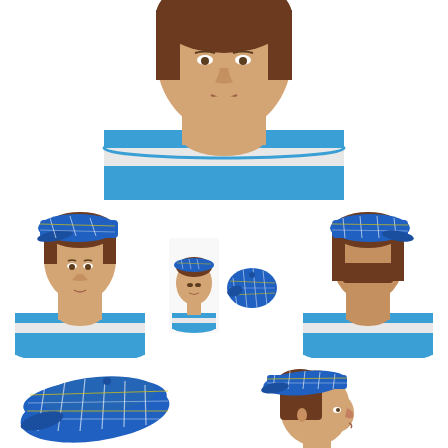[Figure (photo): Close-up of a mannequin head with brown hair, no hat, mounted on a blue and white cylindrical stand. White background. Face visible from chin upward.]
[Figure (photo): Mannequin head wearing a blue tartan/plaid flat cap beret, front-left view. Blue cylindrical stand visible below.]
[Figure (photo): Two small thumbnail images side by side: left shows the mannequin head with the blue plaid cap from front, right shows the cap laid flat showing its top/underside.]
[Figure (photo): Mannequin head wearing a blue tartan/plaid flat cap, rear-right view. Blue cylindrical stand visible below.]
[Figure (photo): Blue tartan/plaid flat cap shown alone at an angle, no mannequin, left side view.]
[Figure (photo): Blue tartan/plaid flat cap worn, profile/side view showing the mannequin head from the right side.]